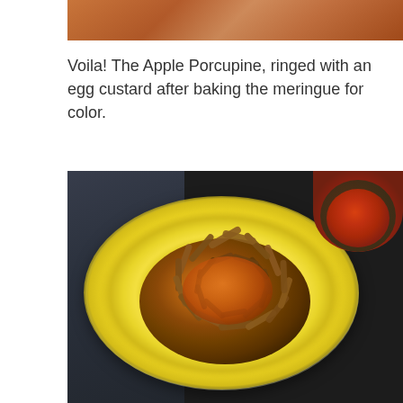[Figure (photo): Partial view of a food dish or table setting, cropped at top of page, showing warm reddish-brown tones]
Voila! The Apple Porcupine, ringed with an egg custard after baking the meringue for color.
[Figure (photo): A dish called Apple Porcupine in a glass pie dish on a dark surface. The apple is surrounded by bright yellow egg custard meringue and topped with sliced almonds arranged like porcupine quills. A small bowl of orange-red sauce is visible in the upper right background.]